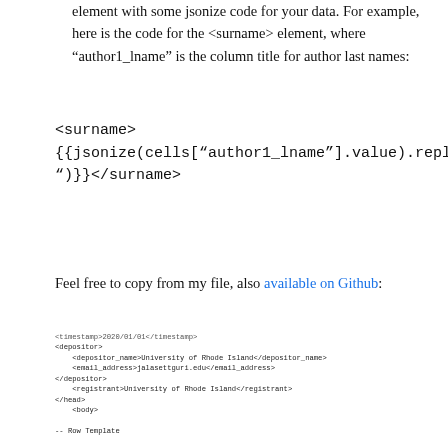element with some jsonize code for your data. For example, here is the code for the <surname> element, where "author1_lname" is the column title for author last names:
<surname>
{{jsonize(cells["author1_lname"].value).replace("", "")}}</surname>
Feel free to copy from my file, also available on Github:
[Figure (screenshot): Screenshot of XML template code showing dissertation contributor structure with jsonize template tags for author name, title, and publication date fields.]